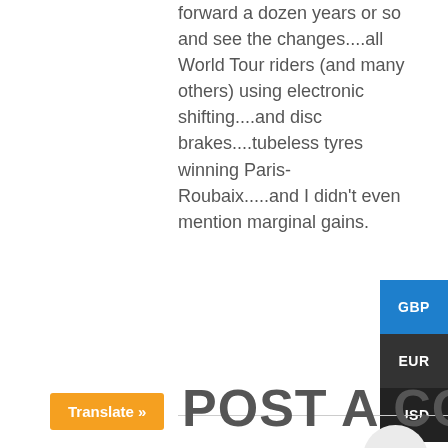forward a dozen years or so and see the changes....all World Tour riders (and many others) using electronic shifting....and disc brakes....tubeless tyres winning Paris-Roubaix.....and I didn't even mention marginal gains.
[Figure (other): Sidebar currency selector buttons: GBP (blue), EUR (dark), USD (dark)]
[Figure (other): Scroll-to-top circular button with upward arrow]
POST A COMMENT
Translate »